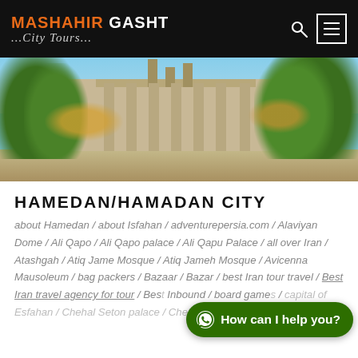MASHAHIR GASHT ...City Tours...
[Figure (photo): Exterior of a historic stone building with classical pillars, surrounded by trees with golden/orange blossoms, against a blue sky. Appears to be Avicenna Mausoleum in Hamedan, Iran.]
HAMEDAN/HAMADAN CITY
about Hamedan / about Isfahan / adventurepersia.com / Alaviyan Dome / Ali Qapo / Ali Qapo palace / Ali Qapu Palace / all over Iran / Atashgah / Atiq Jame Mosque / Atiq Jameh Mosque / Avicenna Mausoleum / bag packers / Bazaar / Bazar / best Iran tour travel / Best Iran travel agency for tour / Bes... Inbound / board game / capital of Esfahan / Chehal Seton palace / Chehal Setoon